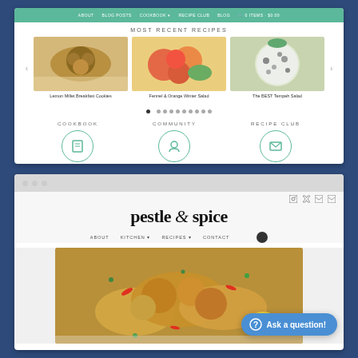[Figure (screenshot): Screenshot of a food blog website showing a navigation bar in teal/green, a 'Most Recent Recipes' carousel with three recipe cards (Lemon Millet Breakfast Cookies, Fennel & Orange Winter Salad, The BEST Tempeh Salad), carousel dots, and three section links: Cookbook, Community, Recipe Club with circular teal icons.]
MOST RECENT RECIPES
Lemon Millet Breakfast Cookies
Fennel & Orange Winter Salad
The BEST Tempeh Salad
COOKBOOK
COMMUNITY
RECIPE CLUB
[Figure (screenshot): Screenshot of 'pestle & spice' food blog website showing a browser chrome with three gray dots, social media icons, the blog title 'pestle & spice' in large serif font, a navigation menu with About, Kitchen, Recipes, Contact, a search button, and a food photo showing fried calamari/seafood with herbs and chili. An 'Ask a question!' button appears in the bottom right corner in blue.]
pestle & spice
Ask a question!